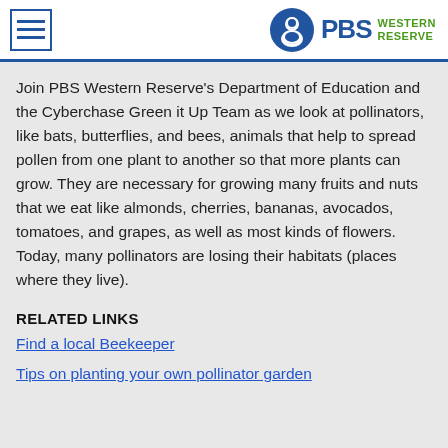PBS Western Reserve
Join PBS Western Reserve's Department of Education and the Cyberchase Green it Up Team as we look at pollinators, like bats, butterflies, and bees, animals that help to spread pollen from one plant to another so that more plants can grow. They are necessary for growing many fruits and nuts that we eat like almonds, cherries, bananas, avocados, tomatoes, and grapes, as well as most kinds of flowers. Today, many pollinators are losing their habitats (places where they live).
RELATED LINKS
Find a local Beekeeper
Tips on planting your own pollinator garden